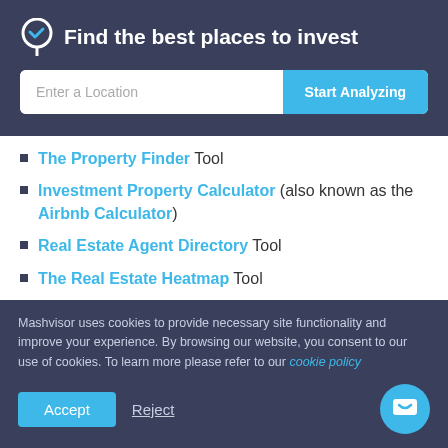Find the best places to invest
[Figure (other): Search bar with 'Enter a Location' input field and 'Start Analyzing' button]
The Property Finder Tool
Investment Property Calculator (also known as the Airbnb Calculator)
Real Estate Agent Directory Tool
The Real Estate Heatmap Tool
These are just a few of the most popular services Mashvisor
Mashvisor uses cookies to provide necessary site functionality and improve your experience. By browsing our website, you consent to our use of cookies. To learn more please refer to our cookie policy
Accept  Reject